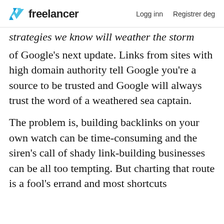Freelancer  Logg inn  Registrer deg
strategies we know will weather the storm of Google’s next update. Links from sites with high domain authority tell Google you’re a source to be trusted and Google will always trust the word of a weathered sea captain.
The problem is, building backlinks on your own watch can be time-consuming and the siren’s call of shady link-building businesses can be all too tempting. But charting that route is a fool’s errand and most shortcuts